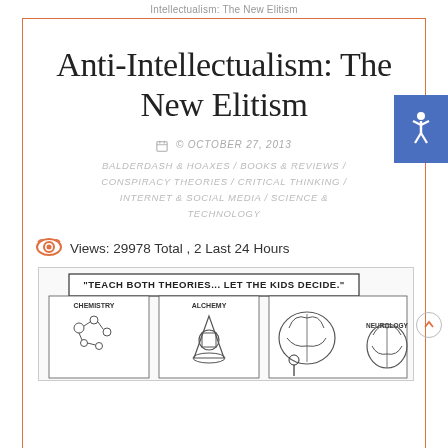Intellectualism: The New Elitism
Anti-Intellectualism: The New Elitism
© OCTOBER 27, 2013
BALDERDASH & HOAXES / BOOKS & REVIEWS / CONSPIRACY THEORIES / CRITICAL THINKING / INTERNET & SOCIAL MEDIA / SCIENCE & TECHNOLOGY
Views: 29978 Total , 2 Last 24 Hours
[Figure (illustration): Comic cartoon with text 'Teach Both Theories... Let the Kids Decide.' showing Chemistry vs Alchemy and Neurology panels]